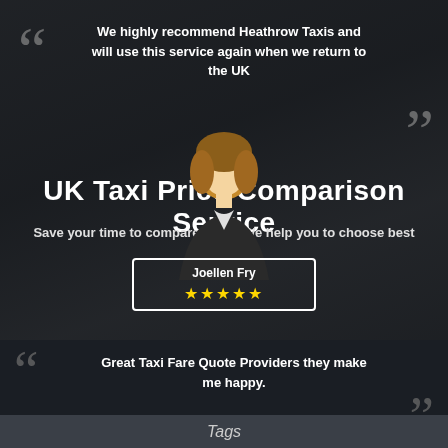We highly recommend Heathrow Taxis and will use this service again when we return to the UK
UK Taxi Price Comparison Service
Save your time to compare... We help you to choose best
[Figure (illustration): Avatar illustration of a woman with brown hair in business attire]
Joellen Fry ★★★★★
Great Taxi Fare Quote Providers they make me happy.
Tags